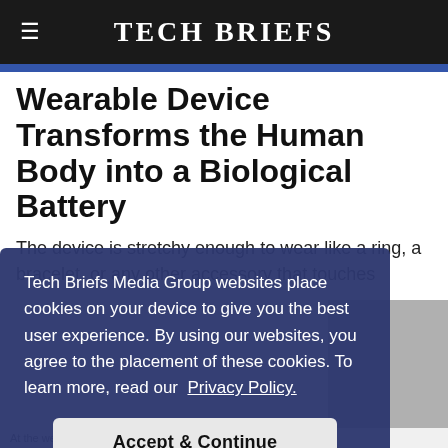Tech Briefs
Wearable Device Transforms the Human Body into a Biological Battery
The device is stretchy enough to wear like a ring, a bracelet, or any other accessory that touches the skin.
Tech Briefs Media Group websites place cookies on your device to give you the best user experience. By using our websites, you agree to the placement of these cookies. To learn more, read our Privacy Policy.
Accept & Continue
At the wearable is washed by a human accessory (Photo: Xiao lab)